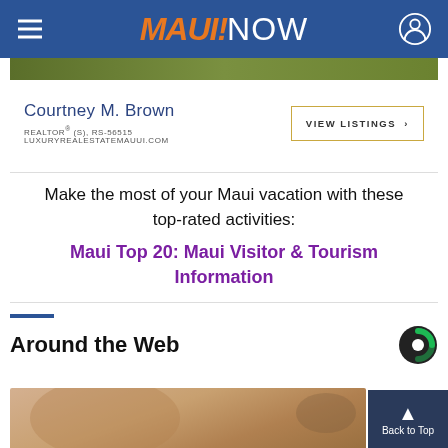MAUI NOW
[Figure (screenshot): Green landscape/nature image strip]
[Figure (screenshot): Realtor advertisement: Courtney M. Brown, REALTOR® (S), RS-56515, LUXURYREALESTATEMAUUI.COM, with VIEW LISTINGS button]
Make the most of your Maui vacation with these top-rated activities:
Maui Top 20: Maui Visitor & Tourism Information
Around the Web
[Figure (photo): Partial image visible at bottom of page, appears to show a bowl or food item]